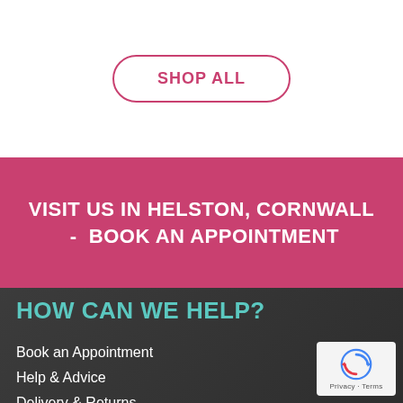SHOP ALL
VISIT US IN HELSTON, CORNWALL  -  BOOK AN APPOINTMENT
HOW CAN WE HELP?
Book an Appointment
Help & Advice
Delivery & Returns
[Figure (logo): reCAPTCHA privacy badge with Google logo]